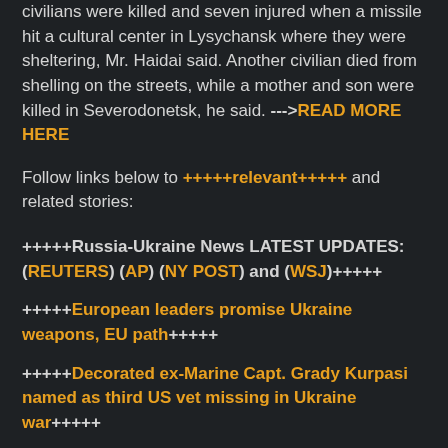civilians were killed and seven injured when a missile hit a cultural center in Lysychansk where they were sheltering, Mr. Haidai said. Another civilian died from shelling on the streets, while a mother and son were killed in Severodonetsk, he said. --->READ MORE HERE
Follow links below to +++++relevant+++++ and related stories:
+++++Russia-Ukraine News LATEST UPDATES: (REUTERS) (AP) (NY POST) and (WSJ)+++++
+++++European leaders promise Ukraine weapons, EU path+++++
+++++Decorated ex-Marine Capt. Grady Kurpasi named as third US vet missing in Ukraine war+++++
Leaders pledge arms and EU path for Ukraine in Kyiv visit
Kyiv says Russia wants to destroy Ukrainian statehood